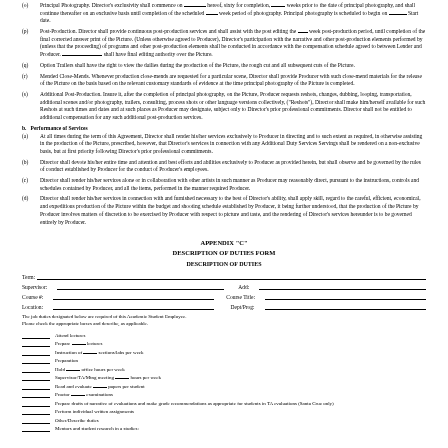(o) Principal Photography. Director's exclusivity shall commence on _____ hereof, sixty for completion, _____ weeks prior to the date of principal photography, and shall continue thereafter on an exclusive basis until completion of the scheduled _____ week period of photography. Principal photography is scheduled to begin on _____ Start date.
(p) Post-production. Director shall provide continuous post-production services and shall assist with the post editing the ___ week post-production period, until completion of the final corrected answer print of the Picture. (Unless otherwise agreed to Producer), Director's participation with the narrative and other post-production elements performed by (unless that the proceeding) of programs and other post-production elements shall be conducted in accordance with the compensation schedule agreed to between Lender and Producer. _____ shall have final editing authority over the Picture.
(q) Option Trailers shall have the right to view the dailies during the production of the Picture, the rough cut and all subsequent cuts of the Picture.
(r) Mended Close-Mends. Whenever production close-mends are requested for a particular scene, Director shall provide Producer with such close-mend materials for the release of the Picture on the basis based on the relevant customary standards of evidence at the time principal photography of the Picture is completed.
(s) Additional Post-Production. Insure it, after the completion of principal photography, on the Picture, Producer requests reshots, changes, dubbing, looping, transportation, additional scenes and/or photography, trailers, consulting, process shots or other language versions collectively, ("Reshots"), Director shall make him/herself available for such Reshots at such times and dates and at such places as Producer may designate, subject only to Director's prior professional commitments. Director shall not be entitled to additional compensation for any such additional post-production services.
b. Performance of Services
(a) At all times during the term of this Agreement, Director shall render his/her services exclusively to Producer in directing and to such extent as required, in otherwise assisting in the production of the Picture, prescribed, however, that Director's services in connection with any Additional Duty Services Servings shall be rendered on a non-exclusive basis, but at first priority following Director's prior professional commitments.
(b) Director shall devote his/her entire time and attention and best efforts and abilities exclusively to Producer as provided herein, but shall observe and be governed by the rules of conduct established by Producer for the conduct of Producer's employees.
(c) Director shall render his/her services alone or in collaboration with other artists in such manner as Producer may reasonably direct, pursuant to the instructions, controls and schedules contained by Producer, and all the items, performed in the manner required Producer.
(d) Director shall render his/her services in connection with and furnished necessary to the best of Director's ability, shall apply skill, regard to the careful, efficient, economical, and expeditious production of the Picture within the budget and shooting schedule established by Producer, it being further understood, that the production of the Picture by Producer involves matters of discretion to be exercised by Producer with respect to picture and taste, and the rendering of Director's services hereunder is to be governed entirely by Producer.
APPENDIX "C"
DESCRIPTION OF DUTIES FORM
DESCRIPTION OF DUTIES
Term: _____________________
Supervisor: _____________________  Add: _____________________
Course #: _____________________  Course Title: _____________________
Location: _____________________  Dept/Prog: _____________________
The job duties designated below are required of this Academic Student Employee.
Please check the appropriate boxes and describe, as applicable.
_____ Attend lectures
_____ Prepare _____ lectures
_____ Instruction of _____ sections/labs per week
_____ Preparation
_____ Hold _____ office hours per week
_____ Supervisor/TA/Mtng meeting _____ hours per week
_____ Read and evaluate _____ papers per student
_____ Proctor _____ examinations
Prepare drafts of narrative of evaluations and make grade recommendations as appropriate for students in TA evaluations (Santa Cruz only)
_____ Perform individual written assignments
_____ Other/Describe duties
_____ Mentors and student research in a studies: